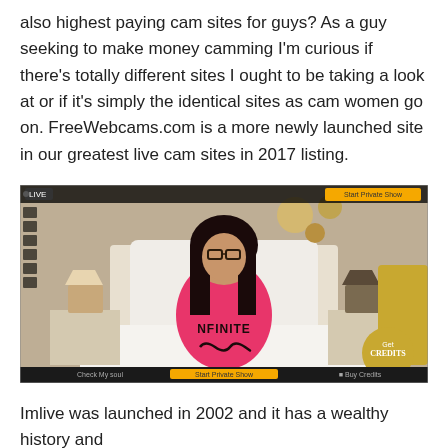also highest paying cam sites for guys? As a guy seeking to make money camming I'm curious if there's totally different sites I ought to be taking a look at or if it's simply the identical sites as cam women go on. FreeWebcams.com is a more newly launched site in our greatest live cam sites in 2017 listing.
[Figure (photo): Screenshot of a live cam website showing a woman wearing a pink 'INFINITE' top sitting on a bed. The interface shows a 'LIVE' indicator in the top left, a yellow 'Start Private Show' button at top right, and a bottom bar with 'Check My soul', 'Start Private Show', and 'Buy Credits' options.]
Imlive was launched in 2002 and it has a wealthy history and